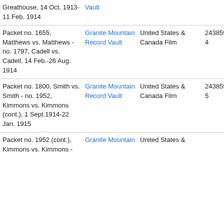| Greathouse, 14 Oct. 1913-11 Feb. 1914 | Vault |  |  |  |
| Packet no. 1655, Matthews vs. Matthews - no. 1797, Cadell vs. Cadell, 14 Feb.-26 Aug. 1914 | Granite Mountain Record Vault | United States & Canada Film | 2438594 | 8517121 |
| Packet no. 1800, Smith vs. Smith - no. 1952, Kimmons vs. Kimmons (cont.), 1 Sept.1914-22 Jan. 1915 | Granite Mountain Record Vault | United States & Canada Film | 2438595 | 8517122 |
| Packet no. 1952 (cont.), Kimmons vs. Kimmons - | Granite Mountain | United States & |  |  |